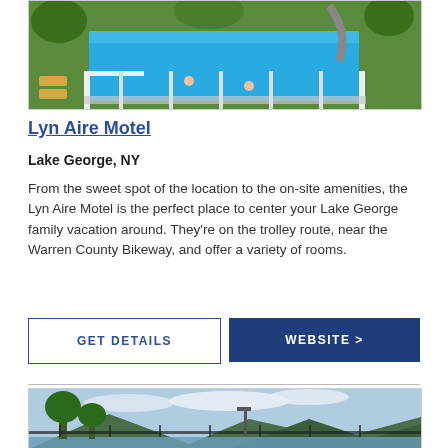[Figure (photo): Outdoor swimming pool with lounge chairs, white fence, water slide, and trees in the background at Lyn Aire Motel]
Lyn Aire Motel
Lake George, NY
From the sweet spot of the location to the on-site amenities, the Lyn Aire Motel is the perfect place to center your Lake George family vacation around. They’re on the trolley route, near the Warren County Bikeway, and offer a variety of rooms.
GET DETAILS
WEBSITE >
[Figure (photo): Lakeside view with trees, mountains in the background, iron fence, and blue cloudy sky]